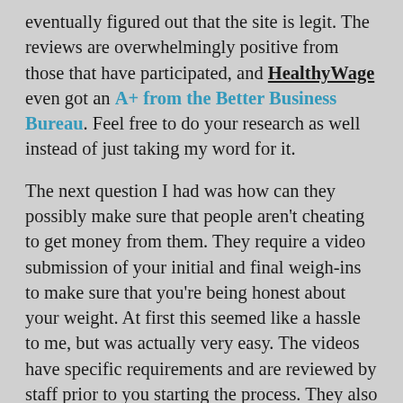eventually figured out that the site is legit. The reviews are overwhelmingly positive from those that have participated, and HealthyWage even got an A+ from the Better Business Bureau. Feel free to do your research as well instead of just taking my word for it.
The next question I had was how can they possibly make sure that people aren't cheating to get money from them. They require a video submission of your initial and final weigh-ins to make sure that you're being honest about your weight. At first this seemed like a hassle to me, but was actually very easy. The videos have specific requirements and are reviewed by staff prior to you starting the process. They also can request that you go have your weight verified by a healthcare professional if they suspect any kind of foul play. I imagine that these two safeguards significantly reduce the likelihood of people trying to cheat when they have money on the line.